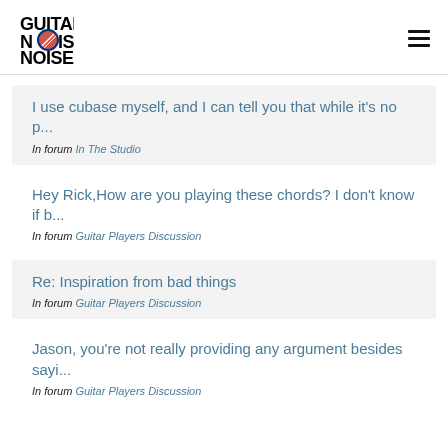Guitar Noise
I use cubase myself, and I can tell you that while it's no p... In forum In The Studio
Hey Rick,How are you playing these chords? I don't know if b... In forum Guitar Players Discussion
Re: Inspiration from bad things In forum Guitar Players Discussion
Jason, you're not really providing any argument besides sayi... In forum Guitar Players Discussion